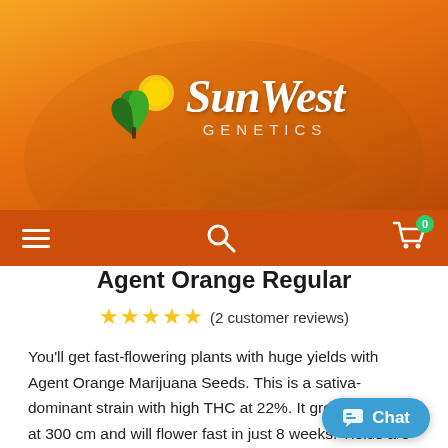[Figure (logo): SunWest Genetics logo with sun and plant icon on orange gradient background]
[Figure (screenshot): Orange navigation bar with hamburger menu, search icon, and shopping cart with badge 0]
Agent Orange Regular
★★★★★ (2 customer reviews)
You'll get fast-flowering plants with huge yields with Agent Orange Marijuana Seeds. This is a sativa-dominant strain with high THC at 22%. It grows very tall at 300 cm and will flower fast in just 8 weeks. Yields are average to heavy, and buds will have sweet, lemony, spicy, orange, and cheesy flavors you'll love.